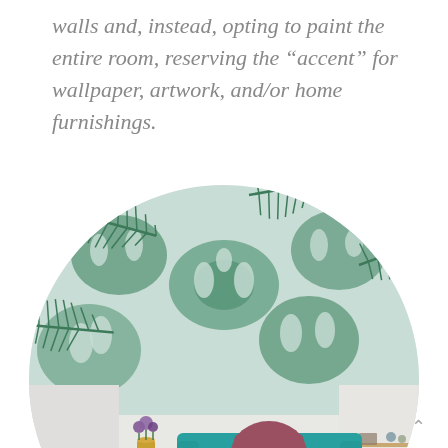walls and, instead, opting to paint the entire room, reserving the “accent” for wallpaper, artwork, and/or home furnishings.
[Figure (photo): A circular-cropped interior design photo showing a living room with a teal/turquoise tufted sofa, a pink throw blanket and maroon pillow, a round wooden side table with a gold vase and purple flowers, a pink armchair partially visible bottom-left, a wooden console table on the right, and a wall covered in tropical leaf wallpaper with large monstera and palm fronds in green on a light mint/pale blue background.]